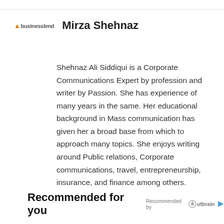businesslend
Mirza Shehnaz
Shehnaz Ali Siddiqui is a Corporate Communications Expert by profession and writer by Passion. She has experience of many years in the same. Her educational background in Mass communication has given her a broad base from which to approach many topics. She enjoys writing around Public relations, Corporate communications, travel, entrepreneurship, insurance, and finance among others.
Recommended for you Recommended by Outbrain